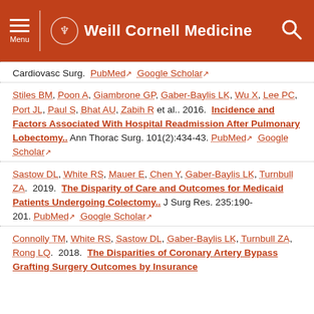Weill Cornell Medicine
Cardiovasc Surg. PubMed [external] Google Scholar [external]
Stiles BM, Poon A, Giambrone GP, Gaber-Baylis LK, Wu X, Lee PC, Port JL, Paul S, Bhat AU, Zabih R et al. 2016. Incidence and Factors Associated With Hospital Readmission After Pulmonary Lobectomy.. Ann Thorac Surg. 101(2):434-43. PubMed [external] Google Scholar [external]
Sastow DL, White RS, Mauer E, Chen Y, Gaber-Baylis LK, Turnbull ZA. 2019. The Disparity of Care and Outcomes for Medicaid Patients Undergoing Colectomy.. J Surg Res. 235:190-201. PubMed [external] Google Scholar [external]
Connolly TM, White RS, Sastow DL, Gaber-Baylis LK, Turnbull ZA, Rong LQ. 2018. The Disparities of Coronary Artery Bypass Grafting Surgery Outcomes by Insurance